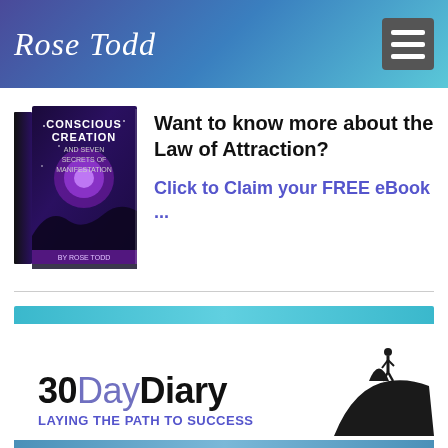Rose Todd
[Figure (illustration): Book cover: Conscious Creation and Seven Secrets of Manifestation by Rose Todd]
Want to know more about the Law of Attraction?
Click to Claim your FREE eBook ...
[Figure (logo): 30DayDiary - Laying the Path to Success banner with silhouette figure on mountain]